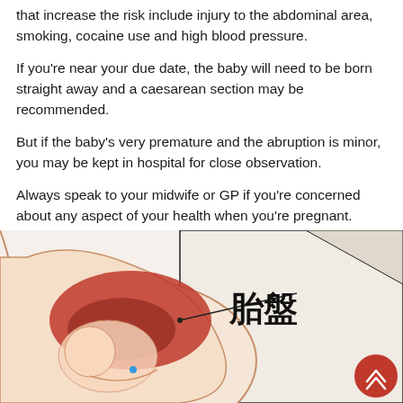that increase the risk include injury to the abdominal area, smoking, cocaine use and high blood pressure.
If you're near your due date, the baby will need to be born straight away and a caesarean section may be recommended.
But if the baby's very premature and the abruption is minor, you may be kept in hospital for close observation.
Always speak to your midwife or GP if you're concerned about any aspect of your health when you're pregnant.
[Figure (illustration): Medical illustration of a pregnant abdomen showing the placenta (胎盤) labeled in Chinese characters, with a cross-sectional anatomical diagram. A red circular scroll-to-top button is overlaid in the bottom right corner.]